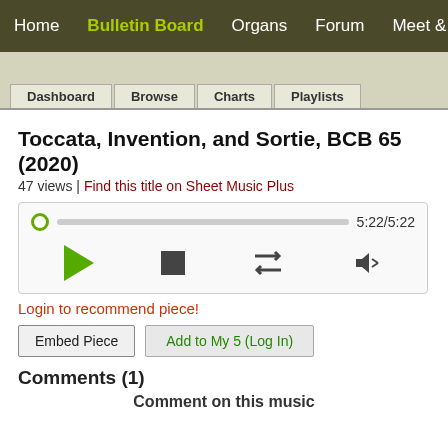Home | Bulletin Board | Organs | Forum | Meet & Greet | The B
Dashboard
Browse
Charts
Playlists
Toccata, Invention, and Sortie, BCB 65 (2020)
47 views | Find this title on Sheet Music Plus
[Figure (other): Audio player with progress bar showing 5:22/5:22, play button, stop button, repeat button, and volume button]
Login to recommend piece!
Embed Piece   Add to My 5 (Log In)
Comments (1)
Comment on this music